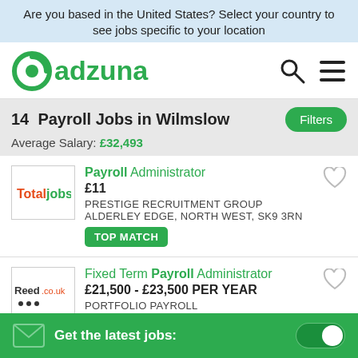Are you based in the United States? Select your country to see jobs specific to your location
[Figure (logo): Adzuna logo with search and menu icons]
14 Payroll Jobs in Wilmslow
Average Salary: £32,493
Payroll Administrator - £11 - PRESTIGE RECRUITMENT GROUP - ALDERLEY EDGE, NORTH WEST, SK9 3RN - TOP MATCH
Fixed Term Payroll Administrator - £21,500 - £23,500 PER YEAR - PORTFOLIO PAYROLL
Get the latest jobs: